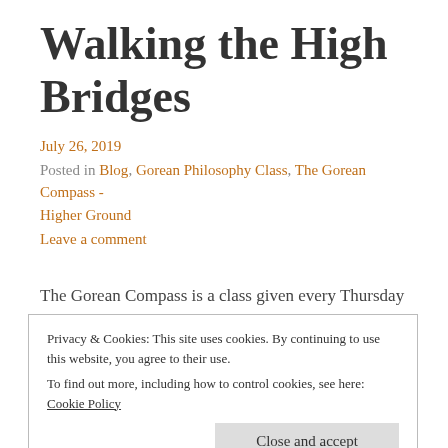Walking the High Bridges
July 26, 2019
Posted in Blog, Gorean Philosophy Class, The Gorean Compass - Higher Ground
Leave a comment
The Gorean Compass is a class given every Thursday by Master Gorm Runo. Classes are held at the Gorean
Privacy & Cookies: This site uses cookies. By continuing to use this website, you agree to their use.
To find out more, including how to control cookies, see here: Cookie Policy
Close and accept
Continue reading